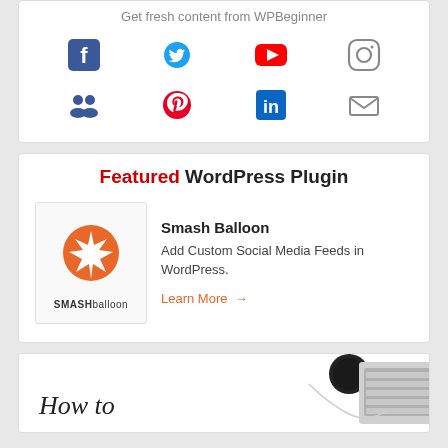Get fresh content from WPBeginner
[Figure (infographic): Social media icons grid: Facebook, Twitter, YouTube, Instagram (top row); Friends/Group, Pinterest, LinkedIn, Email (bottom row)]
Featured WordPress Plugin
[Figure (logo): Smash Balloon logo - orange circle with white star burst, SMASH balloon text below]
Smash Balloon
Add Custom Social Media Feeds in WordPress.
Learn More →
[Figure (photo): Bottom image showing a laptop keyboard, coffee cup, earphones on white background with cursive 'How to' text overlay]